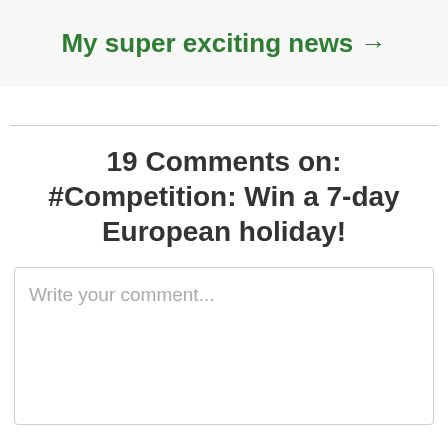My super exciting news →
19 Comments on: #Competition: Win a 7-day European holiday!
Write your comment...